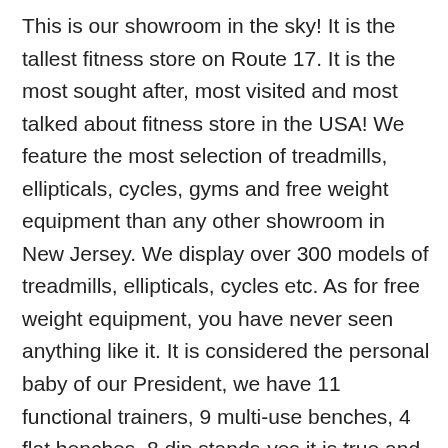This is our showroom in the sky! It is the tallest fitness store on Route 17. It is the most sought after, most visited and most talked about fitness store in the USA! We feature the most selection of treadmills, ellipticals, cycles, gyms and free weight equipment than any other showroom in New Jersey. We display over 300 models of treadmills, ellipticals, cycles etc. As for free weight equipment, you have never seen anything like it. It is considered the personal baby of our President, we have 11 functional trainers, 9 multi-use benches, 4 flat benches, 8 dip stands-yes it is true and over 29 home gyms and more.
This is a showroom of selection like no other. Although we have been in Paramus since 2008, we